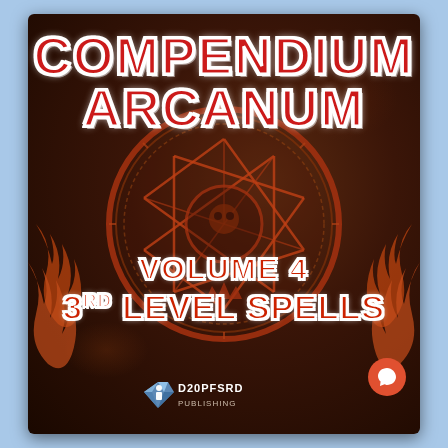[Figure (illustration): Book cover for 'Compendium Arcanum Volume 4: 3rd Level Spells' published by D20PFSRD Publishing. Dark brown leather-textured background with red ornamental arcane circle/pentagram design in center. Large decorative red title text 'Compendium Arcanum' at top with white outline/shadow. Below center: 'Volume 4' and '3rd Level Spells' in matching red decorative font with white outline. Flame/tribal decorative elements on sides. Publisher logo at bottom. Chat bubble icon overlay in bottom right.]